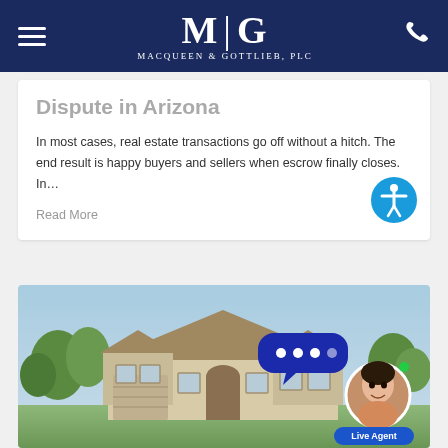MacQueen & Gottlieb, PLC
Dispute in Arizona
In most cases, real estate transactions go off without a hitch. The end result is happy buyers and sellers when escrow finally closes. In…
Read More
[Figure (photo): Photograph of a single-story residential house with a light-colored stucco exterior, brown trim, arched entryway, and lush trees in the background under a clear blue sky. A live chat widget with an agent avatar labeled 'Live Agent' overlays the bottom right corner.]